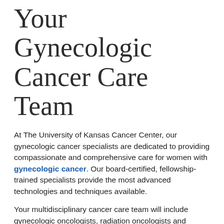Your Gynecologic Cancer Care Team
At The University of Kansas Cancer Center, our gynecologic cancer specialists are dedicated to providing compassionate and comprehensive care for women with gynecologic cancer. Our board-certified, fellowship-trained specialists provide the most advanced technologies and techniques available.
Your multidisciplinary cancer care team will include gynecologic oncologists, radiation oncologists and gynecologic cancer pathologists. Together, the team will coordinate your care to ensure you receive the combination of treatments best suited to you and your particular type of disease.